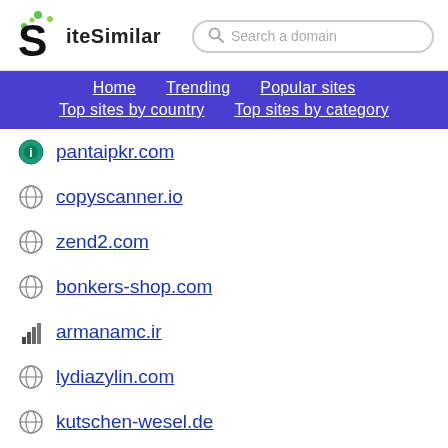[Figure (logo): SiteSimilar logo with stylized S and green dots, text 'iteSimilar']
Search a domain
Home
Trending
Popular sites
Top sites by country
Top sites by category
pantaipkr.com
copyscanner.io
zend2.com
bonkers-shop.com
armanamc.ir
lydiazylin.com
kutschen-wesel.de
dieneue.ru
adresa-bankrussia.ru